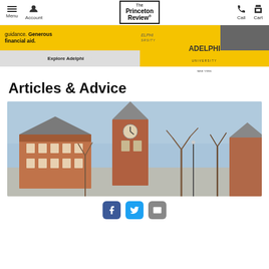Menu | Account | The Princeton Review® | Call | Cart
[Figure (screenshot): Adelphi University advertisement banner with yellow background, text 'guidance. Generous financial aid.' and 'Explore Adelphi' button with Adelphi University logo.]
Articles & Advice
[Figure (photo): University campus building photo showing a red brick building with a clock tower and pointed roof, surrounded by bare winter trees against a blue sky.]
[Figure (screenshot): Social sharing icons: Facebook (blue), Twitter (cyan), Email (grey)]